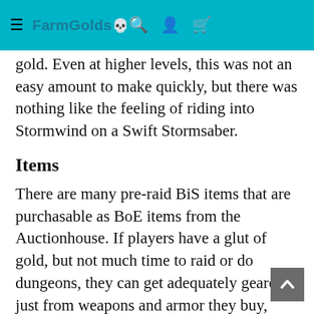FarmGolds [skull icon]
gold. Even at higher levels, this was not an easy amount to make quickly, but there was nothing like the feeling of riding into Stormwind on a Swift Stormsaber.
Items
There are many pre-raid BiS items that are purchasable as BoE items from the Auctionhouse. If players have a glut of gold, but not much time to raid or do dungeons, they can get adequately geared just from weapons and armor they buy, which beats having to slog through hard dungeons and learn raid mechanics.